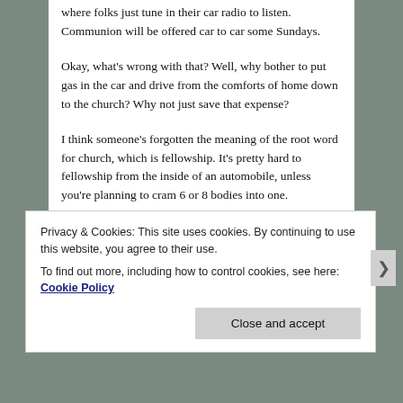where folks just tune in their car radio to listen. Communion will be offered car to car some Sundays.
Okay, what's wrong with that? Well, why bother to put gas in the car and drive from the comforts of home down to the church? Why not just save that expense?
I think someone's forgotten the meaning of the root word for church, which is fellowship. It's pretty hard to fellowship from the inside of an automobile, unless you're planning to cram 6 or 8 bodies into one.
Laziness has gone to seed these days, where people don't want to communicate face to face, offer a hand or a hug, a listening ear, prayer and singing and clapping and
Privacy & Cookies: This site uses cookies. By continuing to use this website, you agree to their use.
To find out more, including how to control cookies, see here: Cookie Policy
Close and accept